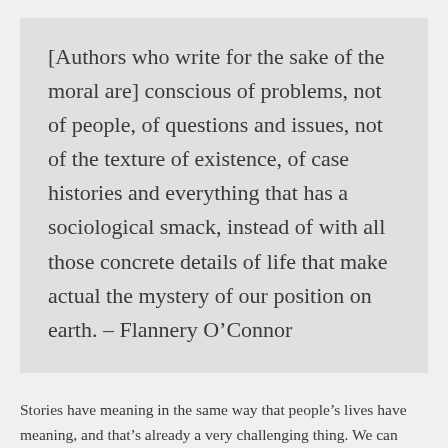[Authors who write for the sake of the moral are] conscious of problems, not of people, of questions and issues, not of the texture of existence, of case histories and everything that has a sociological smack, instead of with all those concrete details of life that make actual the mystery of our position on earth. – Flannery O'Connor
Stories have meaning in the same way that people's lives have meaning, and that's already a very challenging thing. We can appreciate both stories and